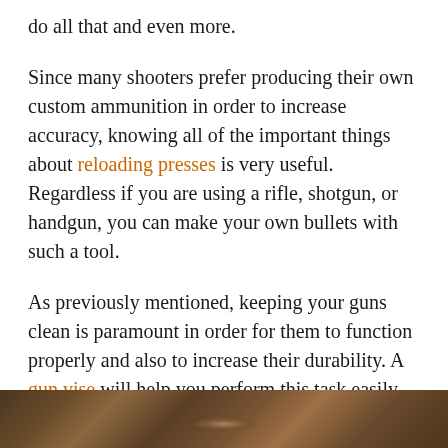do all that and even more.
Since many shooters prefer producing their own custom ammunition in order to increase accuracy, knowing all of the important things about reloading presses is very useful. Regardless if you are using a rifle, shotgun, or handgun, you can make your own bullets with such a tool.
As previously mentioned, keeping your guns clean is paramount in order for them to function properly and also to increase their durability. A gun vise will help you perform this task easily.
4. Reliable Scopes & Optics
[Figure (photo): Partial bottom strip of a photo showing a dark brown wooden surface, likely a gun stock or similar wooden object]